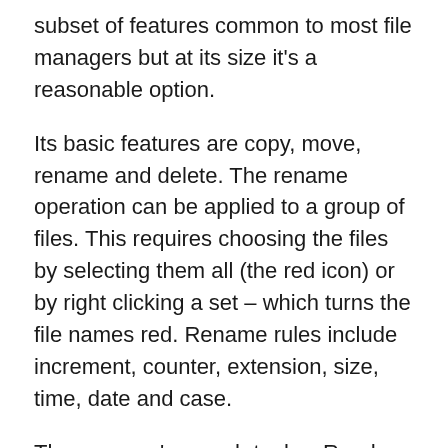subset of features common to most file managers but at its size it's a reasonable option.
Its basic features are copy, move, rename and delete. The rename operation can be applied to a group of files. This requires choosing the files by selecting them all (the red icon) or by right clicking a set – which turns the file names red. Rename rules include increment, counter, extension, size, time, date and case.
The program's search tool … Read more